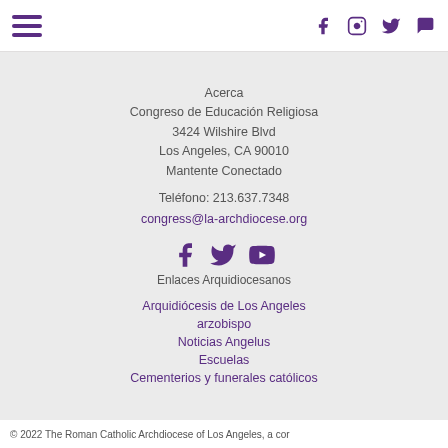Navigation header with hamburger menu and social icons (Facebook, Instagram, Twitter, chat)
Acerca
Congreso de Educación Religiosa
3424 Wilshire Blvd
Los Angeles, CA 90010
Mantente Conectado
Teléfono: 213.637.7348
congress@la-archdiocese.org
[Figure (infographic): Social media icons: Facebook, Twitter, YouTube]
Enlaces Arquidiocesanos
Arquidiócesis de Los Angeles
arzobispo
Noticias Angelus
Escuelas
Cementerios y funerales católicos
© 2022 The Roman Catholic Archdiocese of Los Angeles, a cor